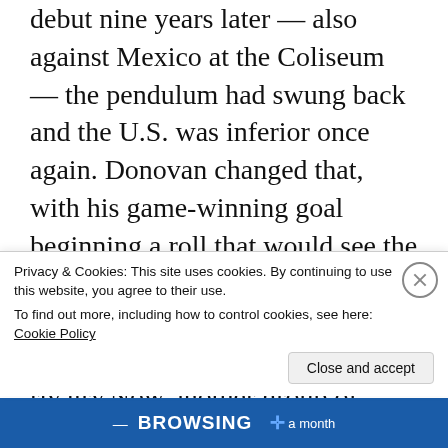debut nine years later — also against Mexico at the Coliseum — the pendulum had swung back and the U.S. was inferior once again. Donovan changed that, with his game-winning goal beginning a roll that would see the U.S. go 9-2-2 in its next 13 games with Mexico, its most successful stretch ever in the cross-border rivalry.Now another group of young Americans is poised to flip the script anew in this week's Nations League in Denver. If both teams win their preliminary matches Thursday — the U.S. against Honduras and Mexico over Costa Rica —
Privacy & Cookies: This site uses cookies. By continuing to use this website, you agree to their use.
To find out more, including how to control cookies, see here: Cookie Policy
Close and accept
— BROWSING + a month